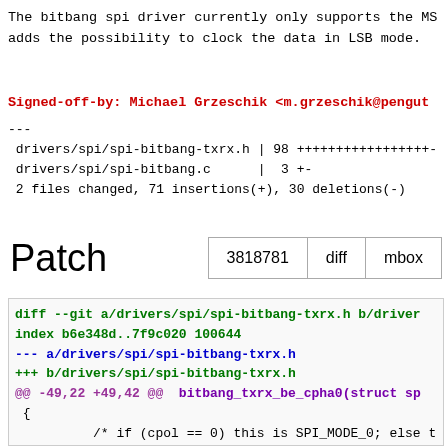The bitbang spi driver currently only supports the MS adds the possibility to clock the data in LSB mode.
Signed-off-by: Michael Grzeschik <m.grzeschik@pengut
---
 drivers/spi/spi-bitbang-txrx.h | 98 +++++++++++++++++-
 drivers/spi/spi-bitbang.c      |  3 +-
 2 files changed, 71 insertions(+), 30 deletions(-)
Patch
3818781  diff  mbox
[Figure (screenshot): Diff output showing changes to drivers/spi/spi-bitbang-txrx.h and related code, with added/removed lines in green and red.]